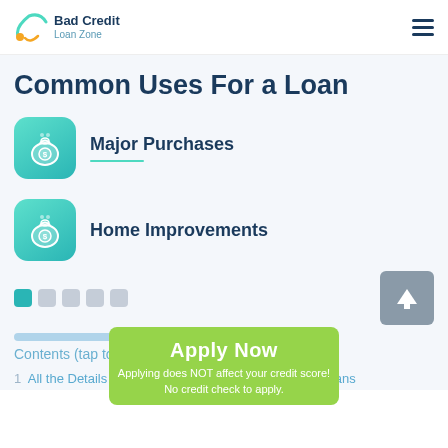Bad Credit Loan Zone
Common Uses For a Loan
Major Purchases
Home Improvements
Contents (tap to hide)
Apply Now
Applying does NOT affect your credit score!
No credit check to apply.
1  All the Details about Davenport Oklahoma Payday Loans